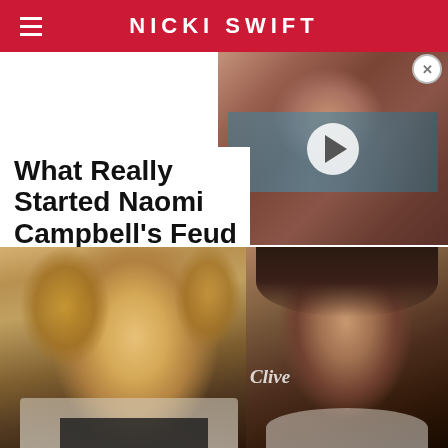NICKI SWIFT
[Figure (photo): Video thumbnail showing a person's face with a play button overlay]
What Really Started Naomi Campbell's Feud
[Figure (photo): Side-by-side photos of two female models — Tyra Banks on the left with curly blonde hair, and Naomi Campbell on the right with a dark bob haircut, in front of a 'Clive' branded backdrop]